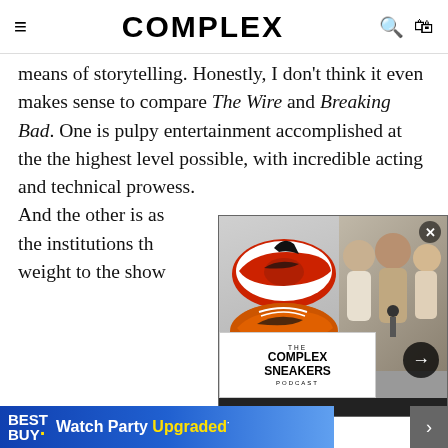COMPLEX
means of storytelling. Honestly, I don't think it even makes sense to compare The Wire and Breaking Bad. One is pulpy entertainment accomplished at the the highest level possible, with incredible acting and technical prowess. And the other is as the institutions th weight to the show
[Figure (screenshot): Complex Sneakers Podcast popup video overlay showing sneakers and podcast hosts with close button and arrow navigation]
In the best way po happens in the fin the transformation is complete: This character has made
[Figure (infographic): Best Buy Watch Party Upgraded advertisement banner]